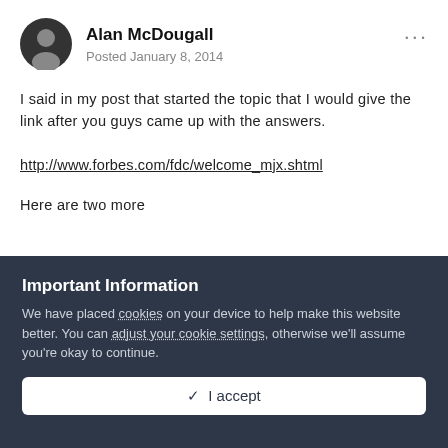Alan McDougall
Posted January 8, 2014
I said in my post that started the topic that I would give the link after you guys came up with the answers.
http://www.forbes.com/fdc/welcome_mjx.shtml
Here are two more
Important Information
We have placed cookies on your device to help make this website better. You can adjust your cookie settings, otherwise we'll assume you're okay to continue.
✓ I accept